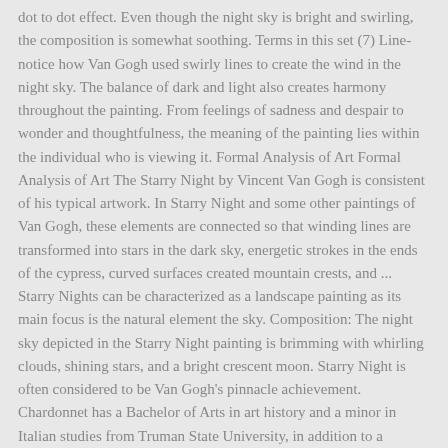dot to dot effect. Even though the night sky is bright and swirling, the composition is somewhat soothing. Terms in this set (7) Line- notice how Van Gogh used swirly lines to create the wind in the night sky. The balance of dark and light also creates harmony throughout the painting. From feelings of sadness and despair to wonder and thoughtfulness, the meaning of the painting lies within the individual who is viewing it. Formal Analysis of Art Formal Analysis of Art The Starry Night by Vincent Van Gogh is consistent of his typical artwork. In Starry Night and some other paintings of Van Gogh, these elements are connected so that winding lines are transformed into stars in the dark sky, energetic strokes in the ends of the cypress, curved surfaces created mountain crests, and ... Starry Nights can be characterized as a landscape painting as its main focus is the natural element the sky. Composition: The night sky depicted in the Starry Night painting is brimming with whirling clouds, shining stars, and a bright crescent moon. Starry Night is often considered to be Van Gogh's pinnacle achievement. Chardonnet has a Bachelor of Arts in art history and a minor in Italian studies from Truman State University, in addition to a certificate in French from Ifalpes University in Chambery, France. Also, it provides an individual with a sense of guidance. The painting uses a nighttime scene, with stars, the moon, trees and a city to evoke comfort and familiarity from the viewer. Space- The cypress tree